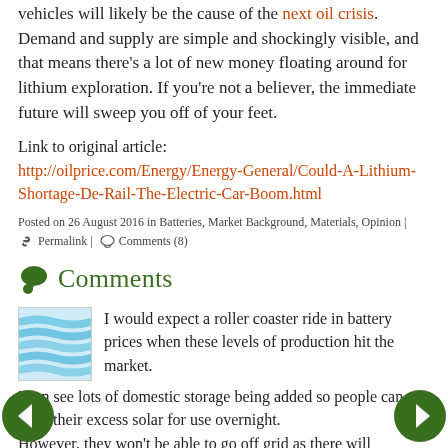vehicles will likely be the cause of the next oil crisis. Demand and supply are simple and shockingly visible, and that means there's a lot of new money floating around for lithium exploration. If you're not a believer, the immediate future will sweep you off of your feet.
Link to original article:
http://oilprice.com/Energy/Energy-General/Could-A-Lithium-Shortage-De-Rail-The-Electric-Car-Boom.html
Posted on 26 August 2016 in Batteries, Market Background, Materials, Opinion |
🔗 Permalink | 💬 Comments (8)
Comments
[Figure (illustration): User avatar: blue wavy lines pattern]
I would expect a roller coaster ride in battery prices when these levels of production hit the market.
I can see lots of domestic storage being added so people can store their excess solar for use overnight.
However, they won't be able to go off grid as there will